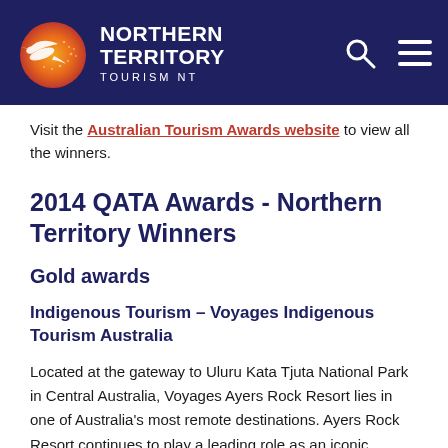Northern Territory Tourism NT
Visit the Australian Tourism Awards website to view all the winners.
2014 QATA Awards - Northern Territory Winners
Gold awards
Indigenous Tourism – Voyages Indigenous Tourism Australia
Located at the gateway to Uluru Kata Tjuta National Park in Central Australia, Voyages Ayers Rock Resort lies in one of Australia's most remote destinations. Ayers Rock Resort continues to play a leading role as an iconic cultural destination within Australia and deliver best practice